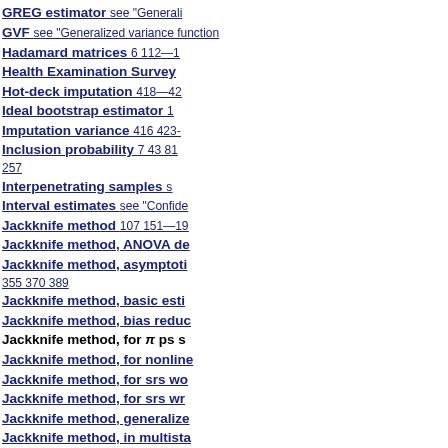GREG estimator   see "Generalized...
GVF   see "Generalized variance function...
Hadamard matrices   6 112—1...
Health Examination Survey
Hot-deck imputation   418—42...
Ideal bootstrap estimator   1...
Imputation variance   416 423-...
Inclusion probability   7 43 81... 257
Interpenetrating samples   s...
Interval estimates   see "Confide...
Jackknife method   107 151—19...
Jackknife method, ANOVA de...
Jackknife method, asymptoti...   355 370 389
Jackknife method, basic esti...
Jackknife method, bias reduc...
Jackknife method, for π ps s...
Jackknife method, for nonline...
Jackknife method, for srs wo...
Jackknife method, for srs wr...
Jackknife method, generalize...
Jackknife method, in multista...
Jackknife method, in presenc...   193
Jackknife method, in stratifie...